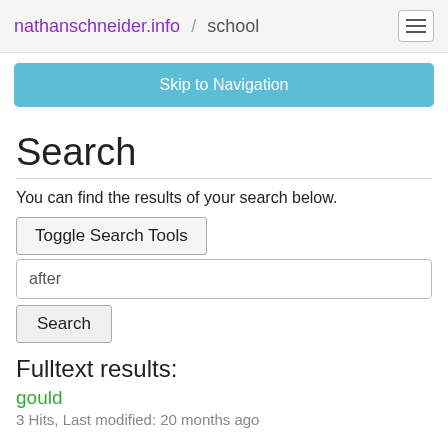nathanschneider.info / school
Skip to Navigation
Search
You can find the results of your search below.
Toggle Search Tools
after
Search
Fulltext results:
gould
3 Hits, Last modified: 20 months ago